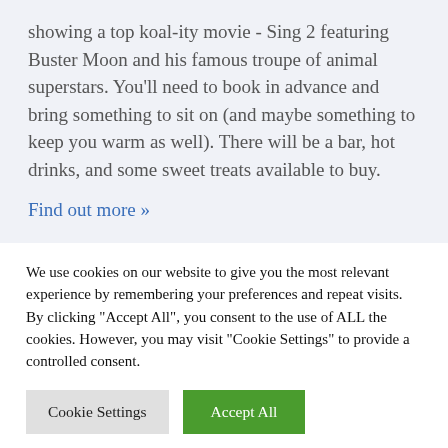showing a top koal-ity movie - Sing 2 featuring Buster Moon and his famous troupe of animal superstars. You'll need to book in advance and bring something to sit on (and maybe something to keep you warm as well). There will be a bar, hot drinks, and some sweet treats available to buy.
Find out more »
We use cookies on our website to give you the most relevant experience by remembering your preferences and repeat visits. By clicking "Accept All", you consent to the use of ALL the cookies. However, you may visit "Cookie Settings" to provide a controlled consent.
Cookie Settings
Accept All